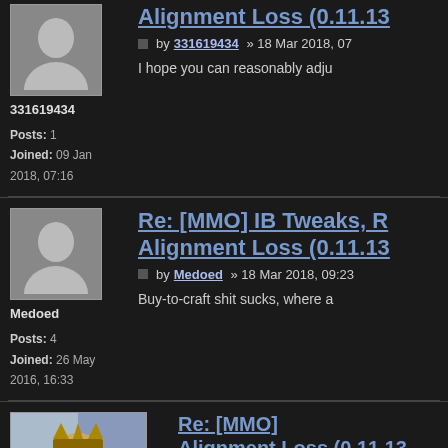[Figure (photo): Default gray avatar placeholder for user 331619434]
331619434
Posts: 1
Joined: 09 Jan 2018, 07:16
Re: [MMO] IB Tweaks, R... Alignment Loss (0.11.13...
by 331619434 » 18 Mar 2018, 07...
I hope you can reasonably adju...
[Figure (photo): Default gray avatar placeholder for user Medoed]
Medoed
Posts: 4
Joined: 26 May 2016, 16:33
Re: [MMO] IB Tweaks, R... Alignment Loss (0.11.13...
by Medoed » 18 Mar 2018, 09:23...
Buy-to-craft shit sucks, where a...
[Figure (photo): Avatar for user Korgak showing a medieval king character]
Re: [MMO] IB Tweaks, R... Alignment Loss (0.11.13...
by Korgak » 18 Mar 2018, 15:10...
I imagined that developers wou... all of you waiting for new conte...